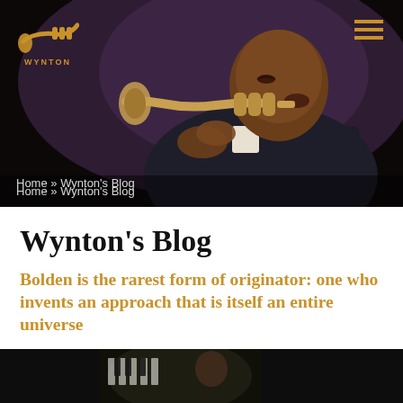[Figure (photo): Hero image of Wynton Marsalis playing trumpet on a dark stage, wearing a dark suit, with golden-amber lighting]
WYNTON logo with trumpet icon and hamburger menu
Home » Wynton's Blog
Wynton's Blog
Bolden is the rarest form of originator: one who invents an approach that is itself an entire universe
[Figure (photo): Partial view of a performer at a piano in a dark concert setting, bottom of page]